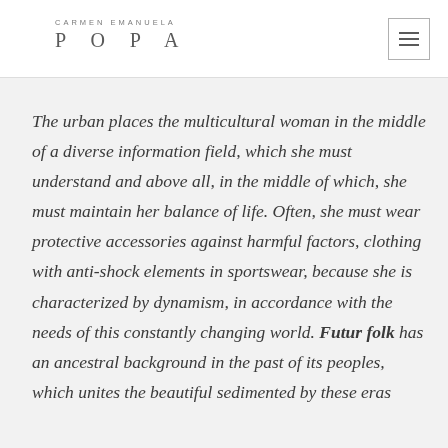CARMEN EMANUELA POPA
The urban places the multicultural woman in the middle of a diverse information field, which she must understand and above all, in the middle of which, she must maintain her balance of life. Often, she must wear protective accessories against harmful factors, clothing with anti-shock elements in sportswear, because she is characterized by dynamism, in accordance with the needs of this constantly changing world. Futur folk has an ancestral background in the past of its peoples, which unites the beautiful sedimented by these eras